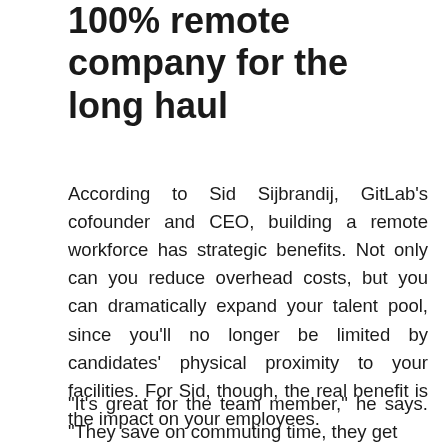100% remote company for the long haul
According to Sid Sijbrandij, GitLab's cofounder and CEO, building a remote workforce has strategic benefits. Not only can you reduce overhead costs, but you can dramatically expand your talent pool, since you'll no longer be limited by candidates' physical proximity to your facilities. For Sid, though, the real benefit is the impact on your employees.
“It's great for the team member,” he says. “They save on commuting time, they get